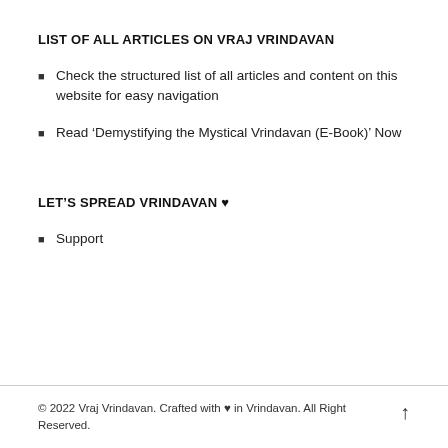LIST OF ALL ARTICLES ON VRAJ VRINDAVAN
Check the structured list of all articles and content on this website for easy navigation
Read ‘Demystifying the Mystical Vrindavan (E-Book)’ Now
LET’S SPREAD VRINDAVAN ♥
Support
© 2022 Vraj Vrindavan. Crafted with ♥ in Vrindavan. All Right Reserved.